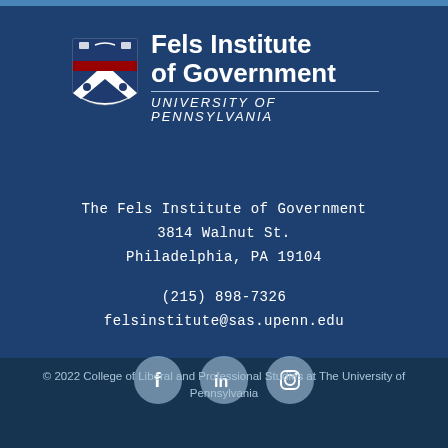[Figure (logo): Fels Institute of Government, University of Pennsylvania logo with shield and institution name]
The Fels Institute of Government
3814 Walnut St.
Philadelphia, PA 19104
(215) 898-7326
felsinstitute@sas.upenn.edu
[Figure (illustration): Social media icons: Facebook, LinkedIn, Instagram]
© 2022 College of Liberal and Professional Studies at The University of Pennsylvania